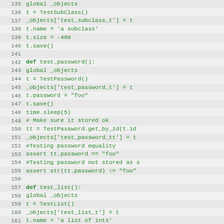[Figure (screenshot): Python source code snippet showing lines 135–166, with line numbers on the left and green monospace code on alternating light gray background rows. Code includes test functions: test_password() and test_list() with various object assignments and assertions.]